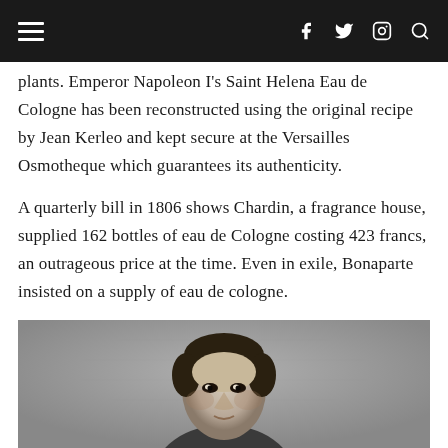Navigation bar with hamburger menu and social icons (f, Twitter, Instagram, Search)
plants. Emperor Napoleon I's Saint Helena Eau de Cologne has been reconstructed using the original recipe by Jean Kerleo and kept secure at the Versailles Osmotheque which guarantees its authenticity.
A quarterly bill in 1806 shows Chardin, a fragrance house, supplied 162 bottles of eau de Cologne costing 423 francs, an outrageous price at the time. Even in exile, Bonaparte insisted on a supply of eau de cologne.
[Figure (photo): Black and white portrait photograph of Napoleon Bonaparte, showing head and upper body, facing slightly left.]